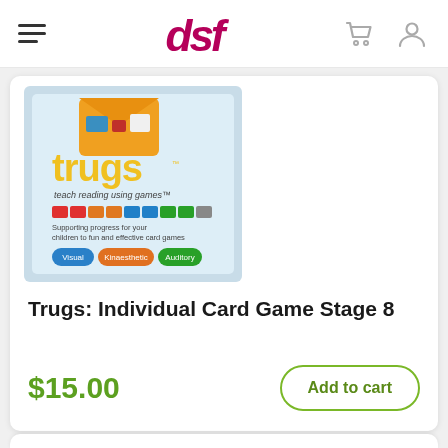DSF navigation header with hamburger menu, DSF logo, cart and user icons
[Figure (photo): Trugs card game product box image showing 'trugs' branding with orange letters, 'teach reading using games' tagline, colored letter tiles, and Visual/Kinaesthetic/Auditory buttons]
Trugs: Individual Card Game Stage 8
$15.00
Add to cart